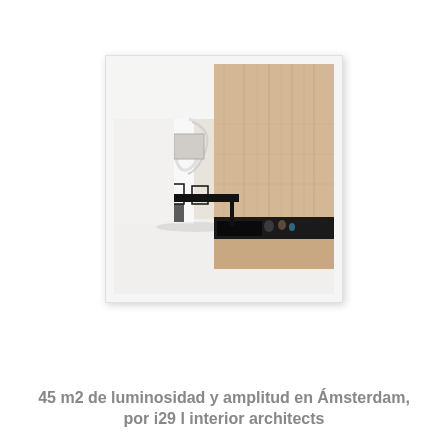[Figure (photo): Interior photo of a minimalist Amsterdam apartment showing a white open-plan living/dining space with natural wood wall-to-ceiling cabinetry, a black horizontal fireplace ledge, a black dining table with chairs, white floors, and a spiral staircase in the background.]
45 m2 de luminosidad y amplitud en Ámsterdam, por i29 l interior architects